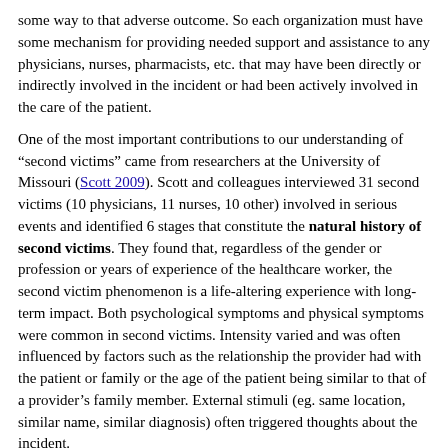some way to that adverse outcome. So each organization must have some mechanism for providing needed support and assistance to any physicians, nurses, pharmacists, etc. that may have been directly or indirectly involved in the incident or had been actively involved in the care of the patient.
One of the most important contributions to our understanding of “second victims” came from researchers at the University of Missouri (Scott 2009). Scott and colleagues interviewed 31 second victims (10 physicians, 11 nurses, 10 other) involved in serious events and identified 6 stages that constitute the natural history of second victims. They found that, regardless of the gender or profession or years of experience of the healthcare worker, the second victim phenomenon is a life-altering experience with long-term impact. Both psychological symptoms and physical symptoms were common in second victims. Intensity varied and was often influenced by factors such as the relationship the provider had with the patient or family or the age of the patient being similar to that of a provider’s family member. External stimuli (eg. same location, similar name, similar diagnosis) often triggered thoughts about the incident.
But they found that “second victims” typically went through the following 6 stages:
1. Chaos and accident response